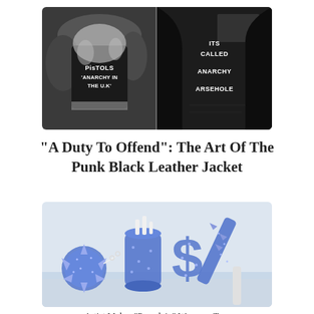[Figure (photo): Black and white diptych photo of two people's backs wearing punk leather jackets. Left jacket reads 'PISTOLS ANARCHY IN THE U.K', right jacket reads 'ITS CALLED ANARCHY ARSEHOLE']
"A Duty To Offend": The Art Of The Punk Black Leather Jacket
[Figure (photo): Color photo of blue glitter-encrusted punk accessories including a spiked ball, a cylindrical object, a large dollar sign shape, and a spiked bat or club, all decorated with blue glitter on a white surface.]
Artist Makes "Porcelain" Weapons To...